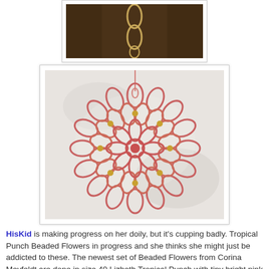[Figure (photo): Partial photo of a tatted lace or beaded jewelry piece against a dark wooden background, showing chain/loop details.]
[Figure (photo): A circular beaded tatted doily or ornament in coral/salmon pink with gold beads, photographed against a mottled white/gray background. The piece has a flower-like pattern with loops and a hanging string at the top.]
HisKid is making progress on her doily, but it's cupping badly. Tropical Punch Beaded Flowers in progress and she thinks she might just be addicted to these. The newest set of Beaded Flowers from Corina Meyfeldt are done in size 40 Lizbeth Tropical Punch with tiny bright pink beads. These top are the Beaded Flowers and there are there in size 50